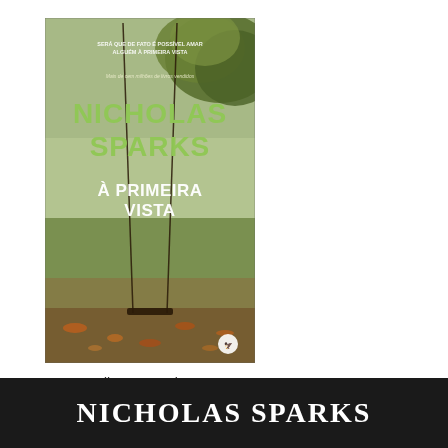[Figure (illustration): Book cover of 'À Primeira Vista' by Nicholas Sparks, published by Editora Arqueiro. The cover shows an empty swing in a park with autumn foliage. Text on cover reads: 'SERÁ QUE DE FATO É POSSÍVEL AMAR ALGUÉM À PRIMEIRA VISTA', 'Mais de cem milhões de livros vendidos', 'NICHOLAS SPARKS', 'À PRIMEIRA VISTA'. Publisher logo visible at bottom right.]
Editora Arqueiro
NICHOLAS SPARKS